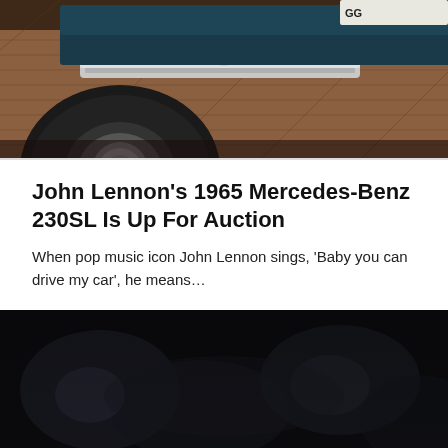[Figure (photo): Partial view of a vintage Mercedes-Benz 230SL car from the front/bottom, showing chrome bumper, wheel, and tire on a herringbone brick pavement]
John Lennon’s 1965 Mercedes-Benz 230SL Is Up For Auction
When pop music icon John Lennon sings, ‘Baby you can drive my car’, he means…
[Figure (photo): Dark, blurry photograph mostly black with some blurred light details, likely showing a car interior or nighttime scene]